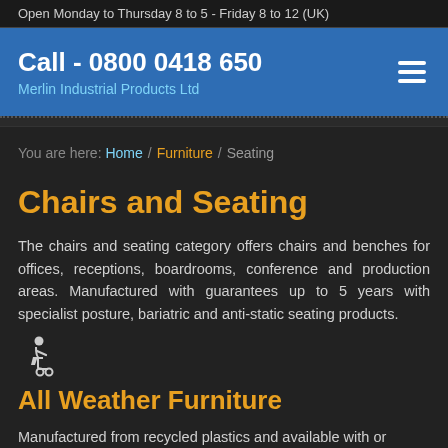Open Monday to Thursday 8 to 5 - Friday 8 to 12 (UK)
Call - 0800 0418 650
Merlin Industrial Products Ltd
You are here: Home / Furniture / Seating
Chairs and Seating
The chairs and seating category offers chairs and benches for offices, receptions, boardrooms, conference and production areas. Manufactured with guarantees up to 5 years with specialist posture, bariatric and anti-static seating products.
[Figure (illustration): Accessibility / wheelchair user icon]
All Weather Furniture
Manufactured from recycled plastics and available with or